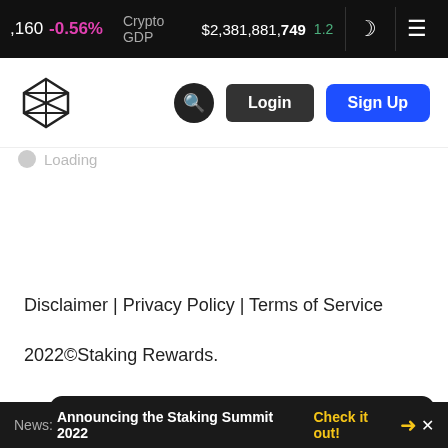,160  -0.56%  Crypto GDP  $2,381,881,749  1.2
[Figure (logo): Staking Rewards icosahedron logo icon]
Login  Sign Up
Loading
Disclaimer | Privacy Policy | Terms of Service
2022©Staking Rewards.
This site uses cookies to provide you with a great user experience. By using Staking Rewards, you accept our use of cookies.
News: Announcing the Staking Summit 2022  Check it out!  →  ×